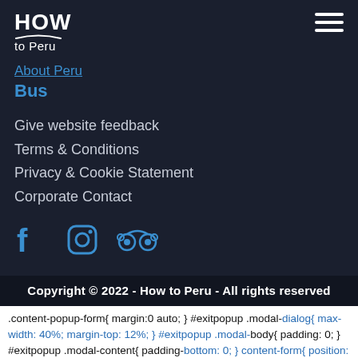HOW to Peru
About Peru
Bus
Give website feedback
Terms & Conditions
Privacy & Cookie Statement
Corporate Contact
[Figure (logo): Social media icons: Facebook, Instagram, TripAdvisor]
Copyright © 2022 - How to Peru - All rights reserved
.content-popup-form{ margin:0 auto; } #exitpopup .modal-dialog{ max-width: 40%; margin-top: 12%; } #exitpopup .modal-body{ padding: 0; } #exitpopup .modal-content{ padding-bottom: 0; } content-form{ position: absolute; top: 40%; width: